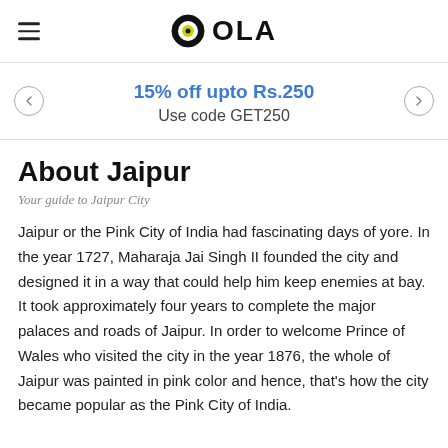OLA
15% off upto Rs.250
Use code GET250
About Jaipur
Your guide to Jaipur City
Jaipur or the Pink City of India had fascinating days of yore. In the year 1727, Maharaja Jai Singh II founded the city and designed it in a way that could help him keep enemies at bay. It took approximately four years to complete the major palaces and roads of Jaipur. In order to welcome Prince of Wales who visited the city in the year 1876, the whole of Jaipur was painted in pink color and hence, that's how the city became popular as the Pink City of India.